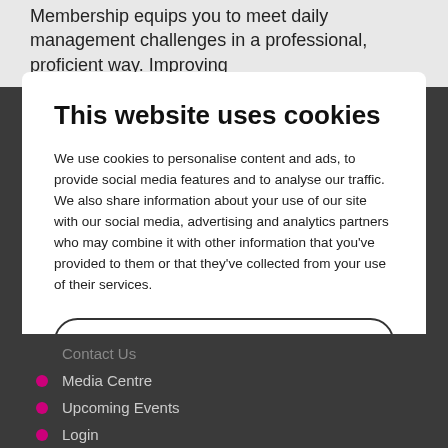Membership equips you to meet daily management challenges in a professional, proficient way. Improving
This website uses cookies
We use cookies to personalise content and ads, to provide social media features and to analyse our traffic. We also share information about your use of our site with our social media, advertising and analytics partners who may combine it with other information that you've provided to them or that they've collected from your use of their services.
Allow selection
Allow all cookies
Necessary   Analytics   Marketing   Show details
Contact Us
Media Centre
Upcoming Events
Login